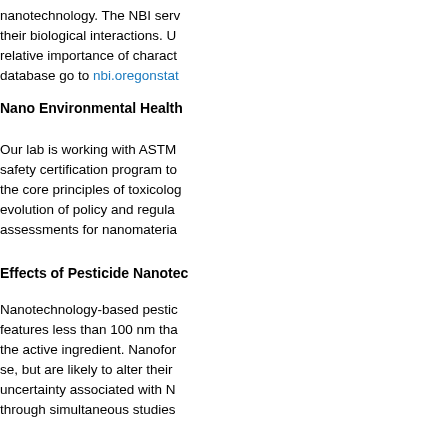nanotechnology. The NBI serv their biological interactions. U relative importance of charact database go to nbi.oregonstat
Nano Environmental Health
Our lab is working with ASTM safety certification program to the core principles of toxicolog evolution of policy and regula assessments for nanomateria
Effects of Pesticide Nanotec
Nanotechnology-based pestic features less than 100 nm tha the active ingredient. Nanofor se, but are likely to alter their uncertainty associated with N through simultaneous studies